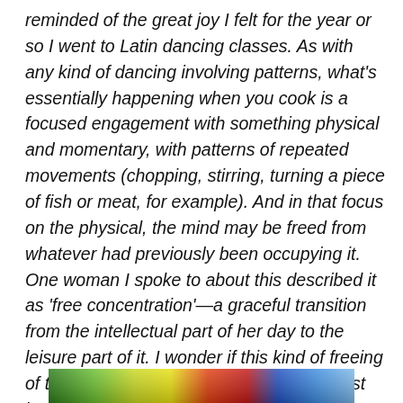reminded of the great joy I felt for the year or so I went to Latin dancing classes. As with any kind of dancing involving patterns, what's essentially happening when you cook is a focused engagement with something physical and momentary, with patterns of repeated movements (chopping, stirring, turning a piece of fish or meat, for example). And in that focus on the physical, the mind may be freed from whatever had previously been occupying it. One woman I spoke to about this described it as 'free concentration'—a graceful transition from the intellectual part of her day to the leisure part of it. I wonder if this kind of freeing of the mind from niggling worries of the past hours or days, or of future expectations, the intense focus and control only of the present moment, is part of the serenity that people seek from meditation.
[Figure (photo): A narrow horizontal strip of a colorful image showing blurred rainbow-like colors (green, yellow, red, blue) at the bottom of the page.]